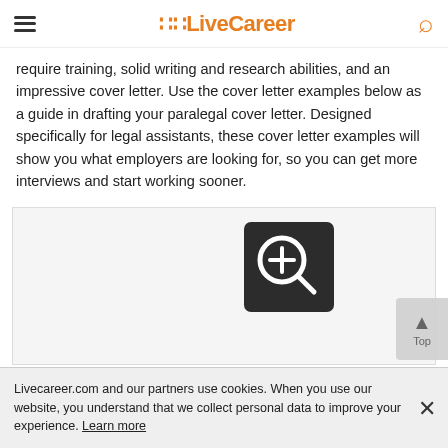LiveCareer
require training, solid writing and research abilities, and an impressive cover letter. Use the cover letter examples below as a guide in drafting your paralegal cover letter. Designed specifically for legal assistants, these cover letter examples will show you what employers are looking for, so you can get more interviews and start working sooner.
[Figure (screenshot): A zoom/magnify button icon (dark background with magnifying glass plus symbol) overlaid on a partially visible document preview area.]
Livecareer.com and our partners use cookies. When you use our website, you understand that we collect personal data to improve your experience. Learn more